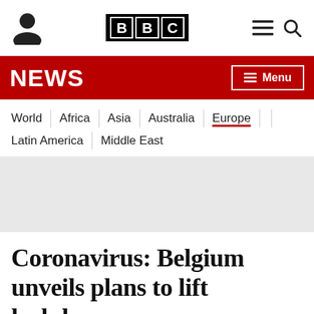BBC News
NEWS | Menu
World | Africa | Asia | Australia | Europe | Latin America | Middle East
[Figure (other): Gray placeholder image area]
Coronavirus: Belgium unveils plans to lift lockdown